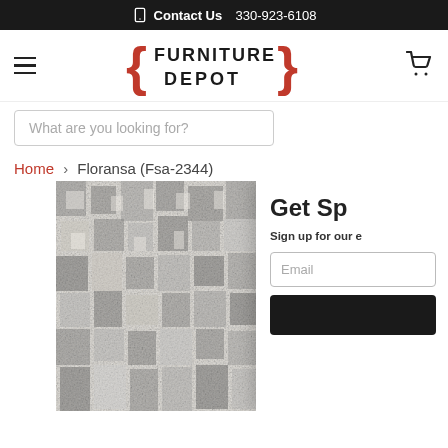Contact Us  330-923-6108
[Figure (logo): Furniture Depot logo with red decorative brackets]
What are you looking for?
Home › Floransa (Fsa-2344)
[Figure (photo): Close-up product photo of a distressed grey/cream area rug with textured woven pattern]
Get Sp
Sign up for our e
Email